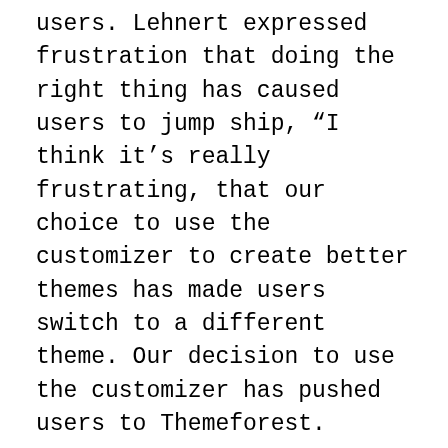users. Lehnert expressed frustration that doing the right thing has caused users to jump ship, “I think it’s really frustrating, that our choice to use the customizer to create better themes has made users switch to a different theme. Our decision to use the customizer has pushed users to Themeforest.
A lot of users have told us they moved to Themeforest and gave up on themes hosted on WordPress.org. To them, Themeforest does the job of WordPress.org and WordPress.org themes are outdated with limited functionality.”
Two to three years ago I would have agreed with the opinion that themes in the WordPress theme directory leave a lot to be desired. I’ve read enough